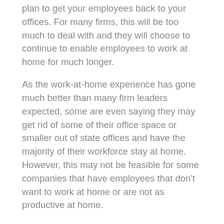plan to get your employees back to your offices. For many firms, this will be too much to deal with and they will choose to continue to enable employees to work at home for much longer.
As the work-at-home experience has gone much better than many firm leaders expected, some are even saying they may get rid of some of their office space or smaller out of state offices and have the majority of their workforce stay at home. However, this may not be feasible for some companies that have employees that don’t want to work at home or are not as productive at home.